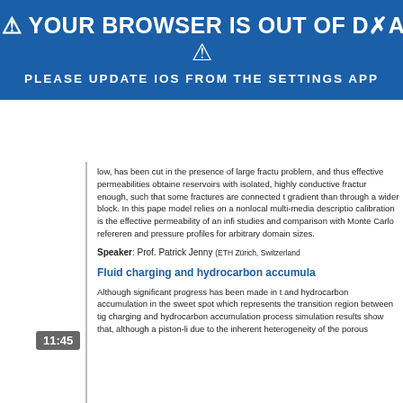[Figure (screenshot): Browser out of date warning banner — blue background with warning triangle icon, bold white text '⚠ YOUR BROWSER IS OUT OF DATE' and subtitle 'PLEASE UPDATE IOS FROM THE SETTINGS APP']
low, has been cut in the presence of large fractu problem, and thus effective permeabilities obtain reservoirs with isolated, highly conductive fractu enough, such that some fractures are connected gradient than through a wider block. In this pape model relies on a nonlocal multi-media descriptio calibration is the effective permeability of an infi studies and comparison with Monte Carlo referen and pressure profiles for arbitrary domain sizes.
Speaker: Prof. Patrick Jenny (ETH Zürich, Switzerland
Fluid charging and hydrocarbon accumula
Although significant progress has been made in t and hydrocarbon accumulation in the sweet spot which represents the transition region between tig charging and hydrocarbon accumulation process simulation results show that, although a piston-li due to the inherent heterogeneity of the porous